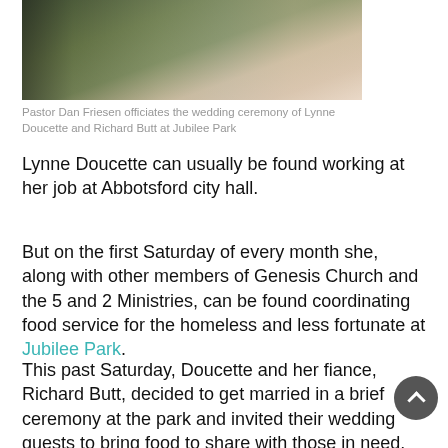[Figure (photo): Outdoor photo showing people at Jubilee Park during a wedding ceremony, with green grass in background]
Pastor Dan Friesen officiates the wedding ceremony of Lynne Doucette and Richard Butt at Jubilee Park
Lynne Doucette can usually be found working at her job at Abbotsford city hall.
But on the first Saturday of every month she, along with other members of Genesis Church and the 5 and 2 Ministries, can be found coordinating food service for the homeless and less fortunate at Jubilee Park.
This past Saturday, Doucette and her fiance, Richard Butt, decided to get married in a brief ceremony at the park and invited their wedding guests to bring food to share with those in need.